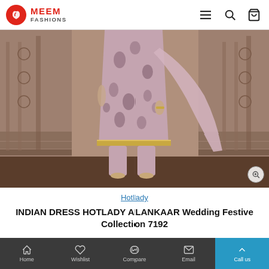MEEM FASHIONS
[Figure (photo): A woman wearing a mauve/dusty rose Indian dress (salwar kameez) with floral print and gold border trim, photographed in front of ornate architectural steps with carved stone pillars. The dupatta (scarf) is draped over the arm.]
Hotlady
INDIAN DRESS HOTLADY ALANKAAR Wedding Festive Collection 7192
Home | Wishlist | Compare | Email | Call us